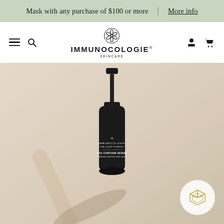Mask with any purchase of $100 or more | More info
[Figure (logo): Immunocologie Skincare logo with snowflake/flower ornament above brand name]
[Figure (photo): Dark bottle of Immunocologie Eye Contour Serum / Serum Contour Des Yeux on beige/cream background with geometric cube badge in bottom right corner]